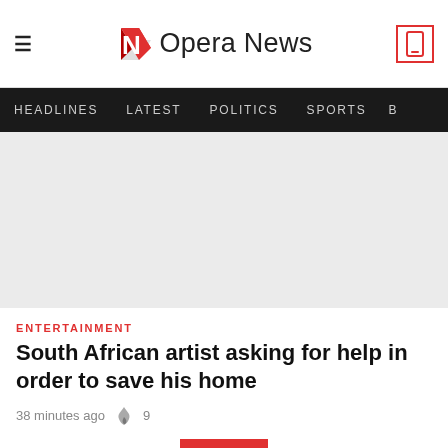Opera News
[Figure (screenshot): Opera News navigation bar with HEADLINES, LATEST, POLITICS, SPORTS menu items on dark background]
[Figure (photo): Article image placeholder (light grey background)]
ENTERTAINMENT
South African artist asking for help in order to save his home
38 minutes ago  9